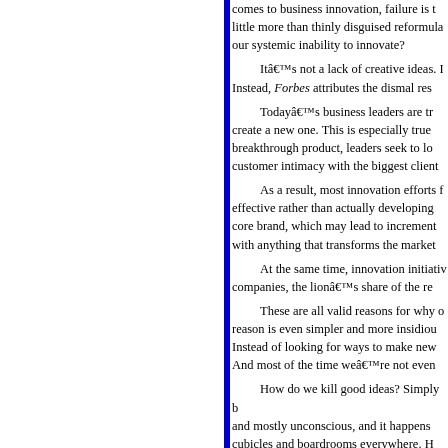comes to business innovation, failure is little more than thinly disguised reformula our systemic inability to innovate?

Itâ€™s not a lack of creative ideas. Instead, Forbes attributes the dismal res

Todayâ€™s business leaders are tra create a new one. This is especially true breakthrough product, leaders seek to lo customer intimacy with the biggest client

As a result, most innovation efforts f effective rather than actually developing core brand, which may lead to increment with anything that transforms the market

At the same time, innovation initiativ companies, the lionâ€™s share of the re

These are all valid reasons for why o reason is even simpler and more insidiou Instead of looking for ways to make new And most of the time weâ€™re not even

How do we kill good ideas? Simply b and mostly unconscious, and it happens cubicles and boardrooms everywhere. H like them) in your organization?